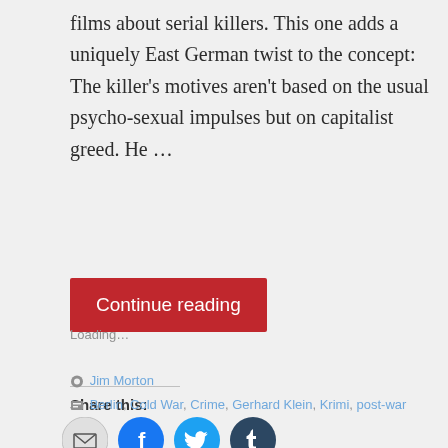films about serial killers. This one adds a uniquely East German twist to the concept: The killer's motives aren't based on the usual psycho-sexual impulses but on capitalist greed. He …
Continue reading
Share this:
[Figure (illustration): Four social sharing icon buttons: email (gray circle), Facebook (blue circle), Twitter (light blue circle), Tumblr (dark blue circle)]
Loading...
Jim Morton
Berlin, Cold War, Crime, Gerhard Klein, Krimi, post-war